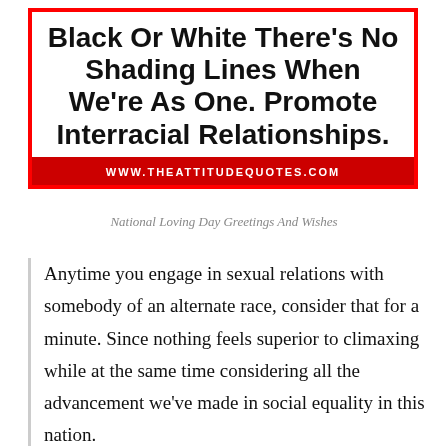[Figure (other): Motivational quote image with red border reading: 'Black Or White There's No Shading Lines When We're As One. Promote Interracial Relationships.' with website www.theattitudequotes.com on red banner]
National Loving Day Greetings And Wishes
Anytime you engage in sexual relations with somebody of an alternate race, consider that for a minute. Since nothing feels superior to climaxing while at the same time considering all the advancement we've made in social equality in this nation.